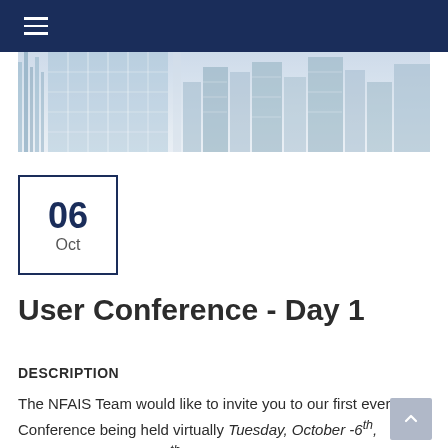Navigation bar with hamburger menu
[Figure (photo): City skyline with glass buildings/skyscrapers hero image]
06 Oct
User Conference - Day 1
DESCRIPTION
The NFAIS Team would like to invite you to our first ever User Conference being held virtually Tuesday, October -6th, Wednesday, October 7th, and Thursday, October 8th.